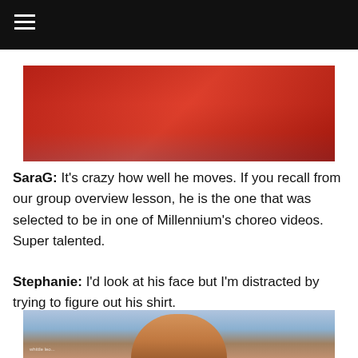☰
[Figure (photo): Partial photo showing a person in a red jacket/shirt, cropped at the top of the page]
SaraG: It's crazy how well he moves. If you recall from our group overview lesson, he is the one that was selected to be in one of Millennium's choreo videos. Super talented.
Stephanie: I'd look at his face but I'm distracted by trying to figure out his shirt.
[Figure (photo): Partial photo showing the back of a person's head with light brown/reddish hair, blurred background]